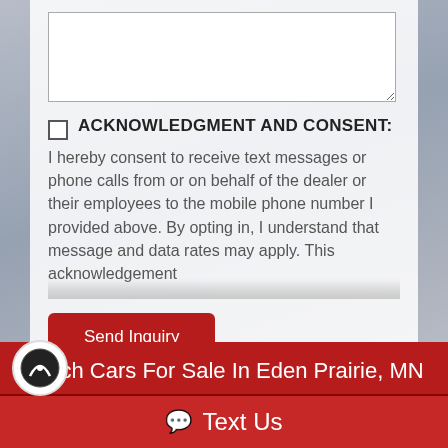[textarea input field]
ACKNOWLEDGMENT AND CONSENT:
I hereby consent to receive text messages or phone calls from or on behalf of the dealer or their employees to the mobile phone number I provided above. By opting in, I understand that message and data rates may apply. This acknowledgement
Send Inquiry
Search Cars For Sale In Eden Prairie, MN
Text Us